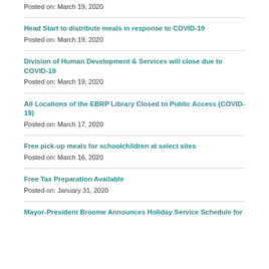Posted on: March 19, 2020
Head Start to distribute meals in response to COVID-19
Posted on: March 19, 2020
Division of Human Development & Services will close due to COVID-19
Posted on: March 19, 2020
All Locations of the EBRP Library Closed to Public Access (COVID-19)
Posted on: March 17, 2020
Free pick-up meals for schoolchildren at select sites
Posted on: March 16, 2020
Free Tax Preparation Available
Posted on: January 31, 2020
Mayor-President Broome Announces Holiday Service Schedule for